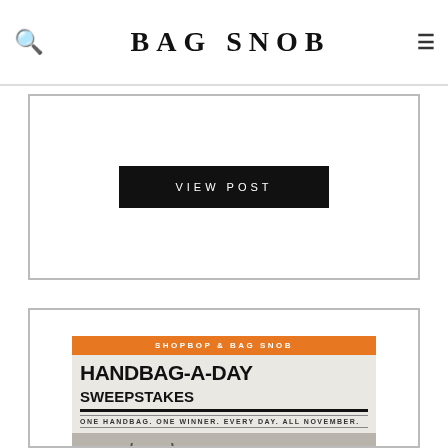over there quickly, hundreds of items on ...
BAG SNOB
[Figure (screenshot): VIEW POST black button inside a bordered card]
[Figure (screenshot): Shopbop & Bag Snob Handbag-A-Day Sweepstakes advertisement with orange banner, bold title text, a fringed black handbag, and an ENTER arrow button]